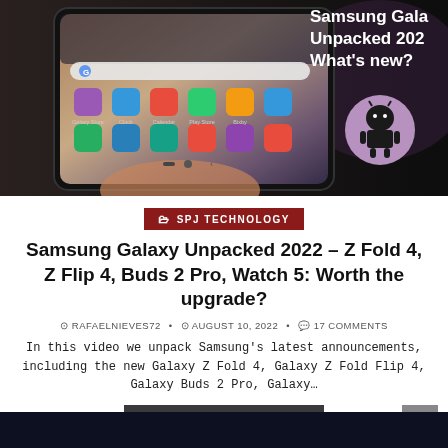[Figure (photo): Samsung Galaxy Z Fold 4 phone held in a hand showing the inner screen with app icons, alongside text 'Samsung Galaxy Unpacked 2022 What's new?' and an Android robot circle logo on dark background]
SPJ TECHNOLOGY
Samsung Galaxy Unpacked 2022 – Z Fold 4, Z Flip 4, Buds 2 Pro, Watch 5: Worth the upgrade?
RAFAELNIEVES72 • AUGUST 10, 2022 • 17 COMMENTS
In this video we unpack Samsung's latest announcements, including the new Galaxy Z Fold 4, Galaxy Z Fold Flip 4, Galaxy Buds 2 Pro, Galaxy…
CONTINUE READING ▶
[Figure (photo): Bottom strip showing a dark image, partial view of another article thumbnail]